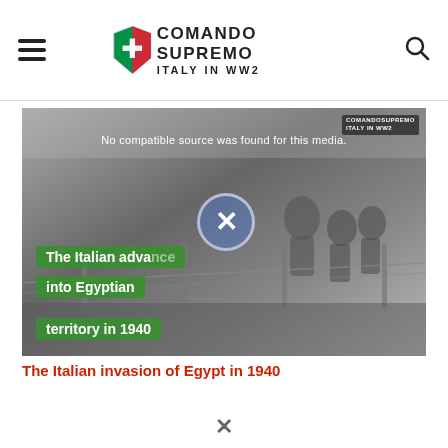Comando Supremo — Italy in WW2
[Figure (screenshot): Embedded video player (media not found) showing black-and-white WWII photograph of Italian soldiers with barbed wire fence. Green text overlays read 'The Italian advance into Egyptian territory in 1940'. A close/dismiss X button is overlaid. Watermark logo visible top-right of video frame. Error message: No compatible source was found for this media.]
The Italian invasion of Egypt in 1940